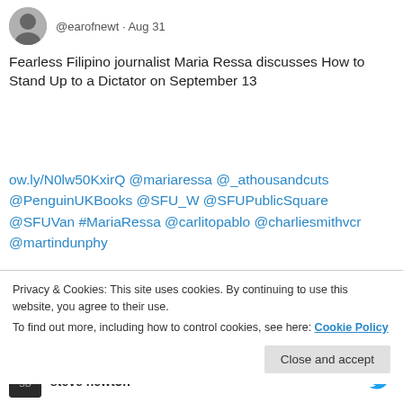@earofnewt · Aug 31
Fearless Filipino journalist Maria Ressa discusses How to Stand Up to a Dictator on September 13
ow.ly/N0lw50KxirQ @mariaressa @_athousandcuts @PenguinUKBooks @SFU_W @SFUPublicSquare @SFUVan #MariaRessa @carlitopablo @charliesmithvcr @martindunphy
[Figure (photo): Portrait photo of Maria Ressa smiling, wearing glasses]
Privacy & Cookies: This site uses cookies. By continuing to use this website, you agree to their use.
To find out more, including how to control cookies, see here: Cookie Policy
Close and accept
steve newton